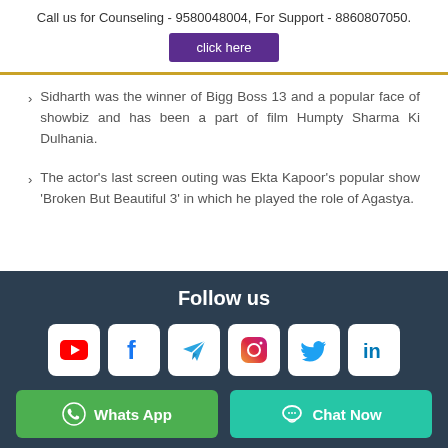Call us for Counseling - 9580048004, For Support - 8860807050.
click here
Sidharth was the winner of Bigg Boss 13 and a popular face of showbiz and has been a part of film Humpty Sharma Ki Dulhania.
The actor's last screen outing was Ekta Kapoor's popular show 'Broken But Beautiful 3' in which he played the role of Agastya.
Follow us | WhatsApp | Chat Now